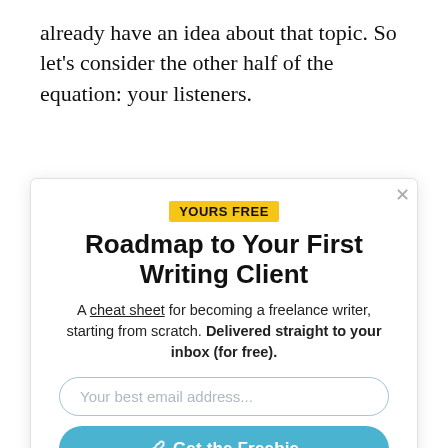already have an idea about that topic. So let's consider the other half of the equation: your listeners.
[Figure (infographic): Modal popup with yellow 'YOURS FREE' badge, bold title 'Roadmap to Your First Writing Client', descriptive text, email input field, and a teal 'Get the Freebie' button. A close (×) button appears in the top-right corner of the modal.]
Roadmap to Your First Writing Client
A cheat sheet for becoming a freelance writer, starting from scratch. Delivered straight to your inbox (for free).
Your best email address...
Get the Freebie